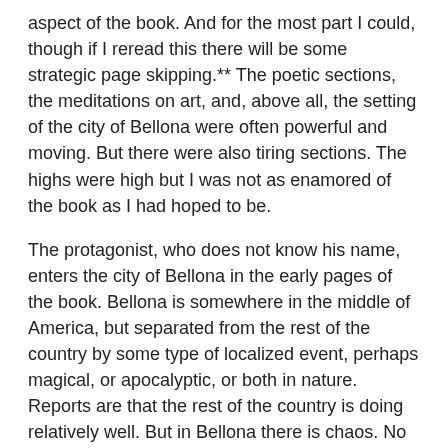aspect of the book. And for the most part I could, though if I reread this there will be some strategic page skipping.** The poetic sections, the meditations on art, and, above all, the setting of the city of Bellona were often powerful and moving. But there were also tiring sections. The highs were high but I was not as enamored of the book as I had hoped to be.
The protagonist, who does not know his name, enters the city of Bellona in the early pages of the book. Bellona is somewhere in the middle of America, but separated from the rest of the country by some type of localized event, perhaps magical, or apocalyptic, or both in nature. Reports are that the rest of the country is doing relatively well. But in Bellona there is chaos. No law. Time doesn't seem to matter. There are gangs that would be at home in Escape From New York or Blade Runner 2049. The protagonist is given the nickname The Kid and he becomes a matter of fascination for the residents of the city across the entire social strata. He receives a notebook early on and writes his poetry on the pages and margins left blank by its previous user. The city is a place where marginalized people find some confusing type of acceptance.